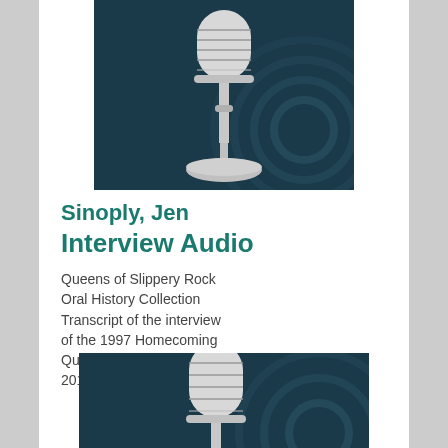[Figure (illustration): A vintage silver microphone on a stand against a dark teal/blue background with circular wave patterns]
Sinoply, Jen
Interview Audio
Queens of Slippery Rock Oral History Collection Transcript of the interview of the 1997 Homecoming Queen Jen Sinoply. 2017
[Figure (illustration): A vintage silver microphone (partial view, bottom portion cut off) against a dark teal/blue background with circular wave patterns]